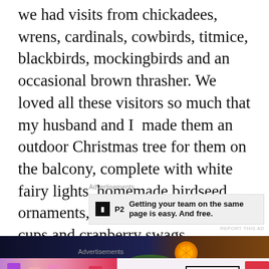we had visits from chickadees, wrens, cardinals, cowbirds, titmice, blackbirds, mockingbirds and an occasional brown thrasher. We loved all these visitors so much that my husband and I  made them an outdoor Christmas tree for them on the balcony, complete with white fairy lights, homemade birdseed ornaments, orange slices, dried fruit cups and cranberry swags.
Advertisements
[Figure (screenshot): Advertisement for P2 — 'Getting your team on the same page is easy. And free.' with P2 logo on grey background]
[Figure (photo): Night photo of outdoor Christmas tree on balcony with orange ornament slice and pine branches against dark blue sky, partially cut off on the right showing wooden structure]
Advertisements
[Figure (screenshot): MAC cosmetics advertisement showing colourful lipsticks on left, MAC wordmark and SHOP NOW box on right]